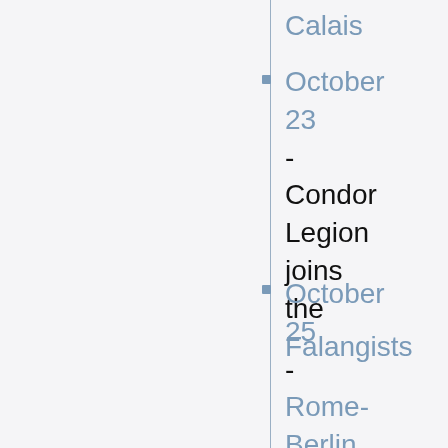Calais
October 23 - Condor Legion joins the Falangists
October 25 - Rome-Berlin axis